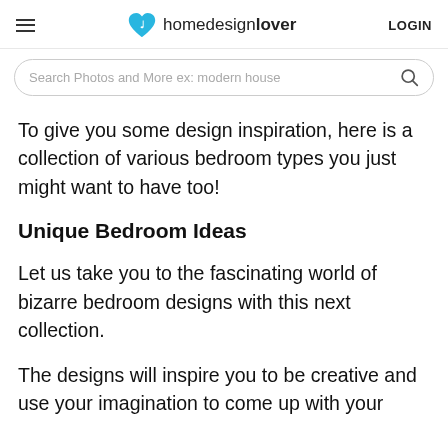homedesignlover LOGIN
Search Photos and More ex: modern house
To give you some design inspiration, here is a collection of various bedroom types you just might want to have too!
Unique Bedroom Ideas
Let us take you to the fascinating world of bizarre bedroom designs with this next collection.
The designs will inspire you to be creative and use your imagination to come up with your